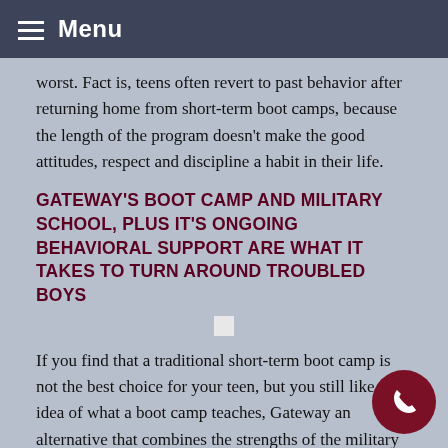Menu
worst. Fact is, teens often revert to past behavior after returning home from short-term boot camps, because the length of the program doesn't make the good attitudes, respect and discipline a habit in their life.
GATEWAY'S BOOT CAMP AND MILITARY SCHOOL, PLUS IT'S ONGOING BEHAVIORAL SUPPORT ARE WHAT IT TAKES TO TURN AROUND TROUBLED BOYS
If you find that a traditional short-term boot camp is not the best choice for your teen, but you still like the idea of what a boot camp teaches, Gateway an alternative that combines the strengths of the military approach with the therapeutic input of a therapeutic boarding school. Gateway, in the Panhandle of Florida, is a Christian program that has – and brought restoration to- struggling teenage boys their families from homes all across the nation for well over